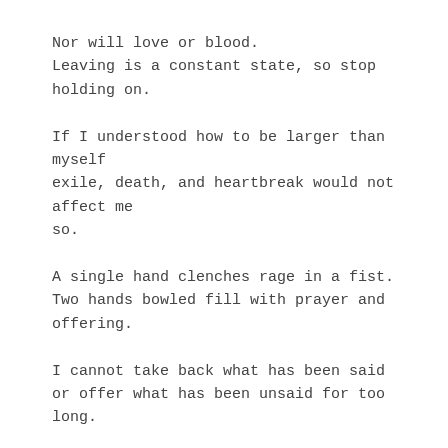Nor will love or blood.
Leaving is a constant state, so stop holding on.
If I understood how to be larger than myself
exile, death, and heartbreak would not affect me
so.
A single hand clenches rage in a fist.
Two hands bowled fill with prayer and offering.
I cannot take back what has been said
or offer what has been unsaid for too long.
History is a human construction
made of words and interpretation.